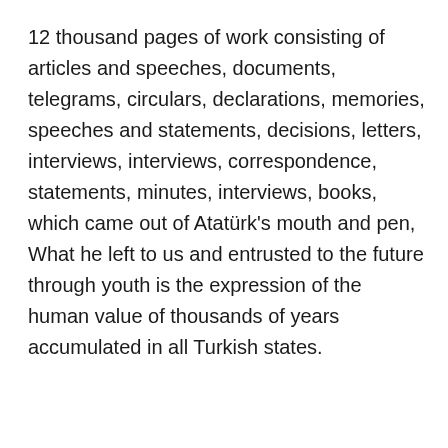12 thousand pages of work consisting of articles and speeches, documents, telegrams, circulars, declarations, memories, speeches and statements, decisions, letters, interviews, interviews, correspondence, statements, minutes, interviews, books, which came out of Atatürk's mouth and pen, What he left to us and entrusted to the future through youth is the expression of the human value of thousands of years accumulated in all Turkish states.